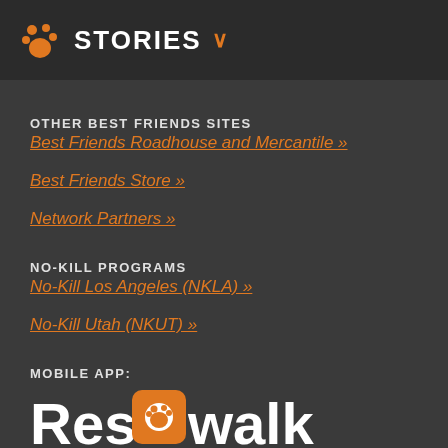STORIES
OTHER BEST FRIENDS SITES
Best Friends Roadhouse and Mercantile »
Best Friends Store »
Network Partners »
NO-KILL PROGRAMS
No-Kill Los Angeles (NKLA) »
No-Kill Utah (NKUT) »
MOBILE APP:
[Figure (logo): ResQwalk logo with text 'Helping animals one step at a time.']